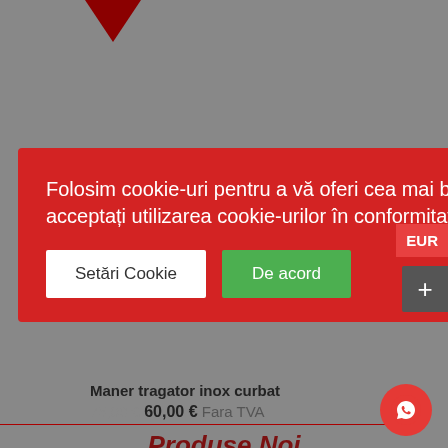[Figure (screenshot): Gray background with dark red downward triangle at top]
Folosim cookie-uri pentru a vă oferi cea mai bună experiență online. Prin continuarea navigării acceptați utilizarea cookie-urilor în conformitate cu politica noastră privind cookie-urile.
Setări Cookie
De acord
Maner tragator inox curbat
75,00 € 60,00 € Fara TVA
Produse Noi